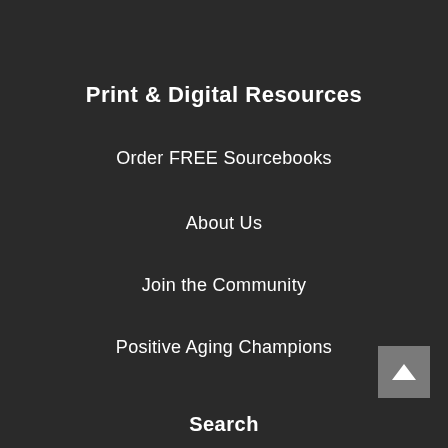Print & Digital Resources
Order FREE Sourcebooks
About Us
Join the Community
Positive Aging Champions
Search